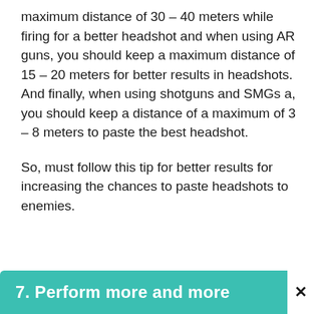maximum distance of 30 – 40 meters while firing for a better headshot and when using AR guns, you should keep a maximum distance of 15 – 20 meters for better results in headshots. And finally, when using shotguns and SMGs a, you should keep a distance of a maximum of 3 – 8 meters to paste the best headshot.
So, must follow this tip for better results for increasing the chances to paste headshots to enemies.
7. Perform more and more